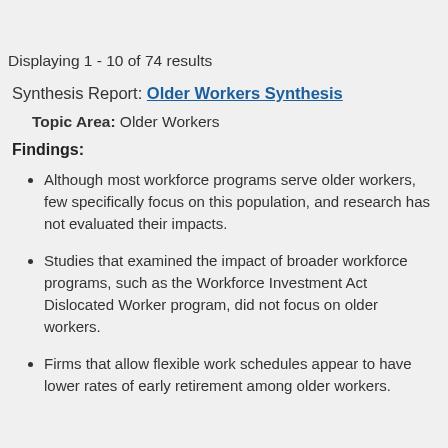Displaying 1 - 10 of 74 results
Synthesis Report: Older Workers Synthesis
Topic Area: Older Workers
Findings:
Although most workforce programs serve older workers, few specifically focus on this population, and research has not evaluated their impacts.
Studies that examined the impact of broader workforce programs, such as the Workforce Investment Act Dislocated Worker program, did not focus on older workers.
Firms that allow flexible work schedules appear to have lower rates of early retirement among older workers.